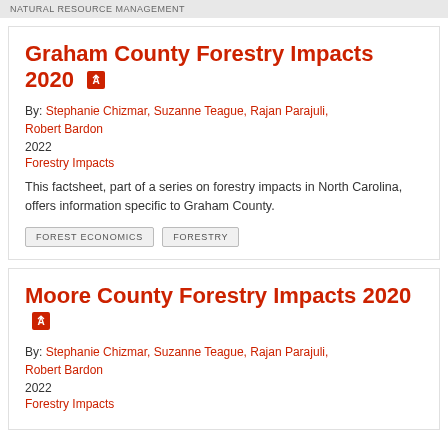NATURAL RESOURCE MANAGEMENT
Graham County Forestry Impacts 2020
By: Stephanie Chizmar, Suzanne Teague, Rajan Parajuli, Robert Bardon
2022
Forestry Impacts
This factsheet, part of a series on forestry impacts in North Carolina, offers information specific to Graham County.
FOREST ECONOMICS
FORESTRY
Moore County Forestry Impacts 2020
By: Stephanie Chizmar, Suzanne Teague, Rajan Parajuli, Robert Bardon
2022
Forestry Impacts